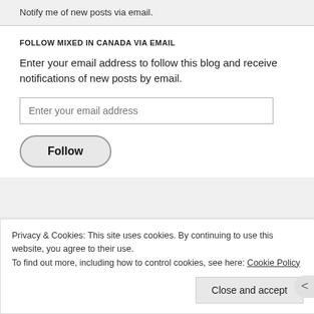Notify me of new posts via email.
FOLLOW MIXED IN CANADA VIA EMAIL
Enter your email address to follow this blog and receive notifications of new posts by email.
Enter your email address
Follow
Privacy & Cookies: This site uses cookies. By continuing to use this website, you agree to their use.
To find out more, including how to control cookies, see here: Cookie Policy
Close and accept